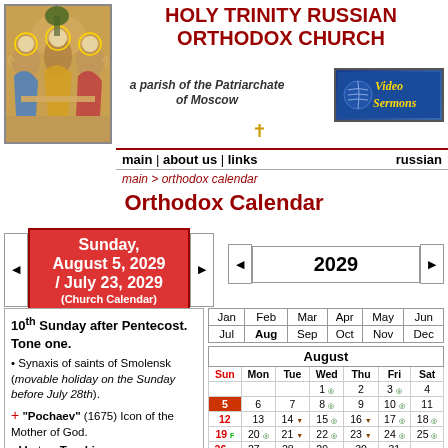[Figure (illustration): Russian Orthodox Trinity icon - three angels seated at a table, gold and blue tones]
HOLY TRINITY RUSSIAN ORTHODOX CHURCH
a parish of the Patriarchate of Moscow
[Figure (logo): Video Sermons button - blue background with gold text]
main | about us | links   russian
main > orthodox calendar
Orthodox Calendar
Sunday, August 5, 2029 / July 23, 2029 (Church Calendar)
2029
10th Sunday after Pentecost. Tone one.
• Synaxis of saints of Smolensk (movable holiday on the Sunday before July 28th).
+ "Pochaev" (1675) Icon of the Mother of God.
• Martyrs Trophimus,
| Jan | Feb | Mar | Apr | May | Jun | Jul | Aug | Sep | Oct | Nov | Dec |
| --- | --- | --- | --- | --- | --- | --- | --- | --- | --- | --- | --- |
| Sun | Mon | Tue | Wed | Thu | Fri | Sat |
| --- | --- | --- | --- | --- | --- | --- |
|  |  |  | 1 | 2 | 3 | 4 |
| 5 | 6 | 7 | 8 | 9 | 10 | 11 |
| 12 | 13 | 14 | 15 | 16 | 17 | 18 |
| 19 F | 20 | 21 | 22 | 23 | 24 | 25 |
| 26 | 27 | 28 | 29 | 30 | 31 |  |